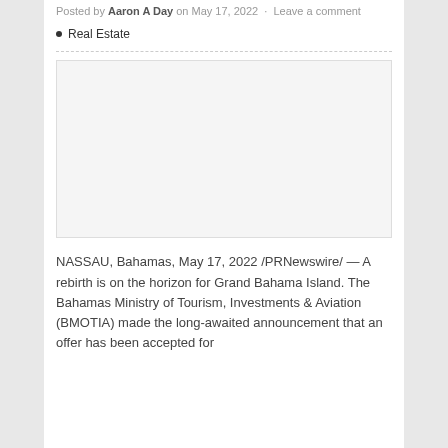Posted by Aaron A Day on May 17, 2022 · Leave a comment
Real Estate
[Figure (photo): Placeholder image area, light gray background with border, no visible image content]
NASSAU, Bahamas, May 17, 2022 /PRNewswire/ — A rebirth is on the horizon for Grand Bahama Island. The Bahamas Ministry of Tourism, Investments & Aviation (BMOTIA) made the long-awaited announcement that an offer has been accepted for